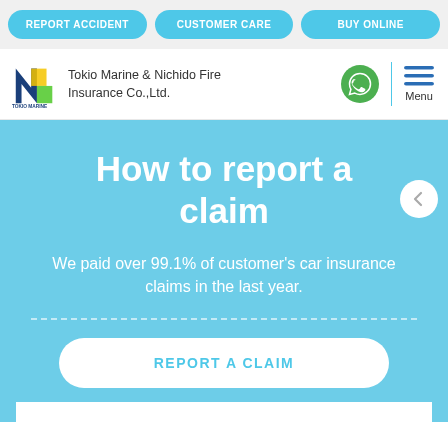REPORT ACCIDENT | CUSTOMER CARE | BUY ONLINE
[Figure (logo): Tokio Marine & Nichido Fire Insurance Co., Ltd. logo with company name, WhatsApp icon, and hamburger Menu icon]
How to report a claim
We paid over 99.1% of customer's car insurance claims in the last year.
REPORT A CLAIM